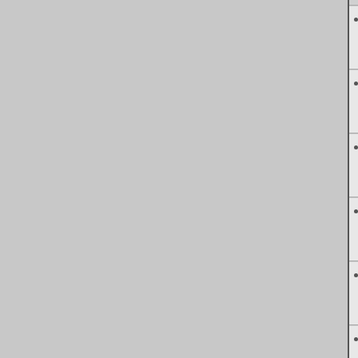| User | Camera | Lens | Date | Comment |
| --- | --- | --- | --- | --- |
| jblaylockrayner | Nikon D2Xs | Nikon AF-S DX Zoom-... | 05/0... | Gr... an... |
| citymars | Nikon D700 | Nikon AF-S NIKKOR ... | 05/0... | I th... an... |
| slingram | Canon EOS-20D | Canon EF-S 17-55m... | 05/0... | Gr... da... |
| wingyisleeds | Canon EOS-40D | Canon EF 50mm f/1.8 II | 05/0... | Ad... |
| william88 | Sony Alpha a7R II | Sigma 10-20mm f/4-5.... | 05/0... | Be... |
| pjotre7 | Sony DSLR-A550 |  | 05/0... | Th... |